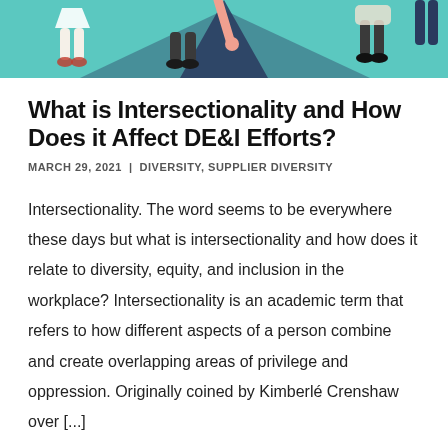[Figure (illustration): Illustrated banner showing diverse people walking, with teal/green geometric background and various leg/body silhouettes visible from a top-down perspective]
What is Intersectionality and How Does it Affect DE&I Efforts?
MARCH 29, 2021  |  DIVERSITY, SUPPLIER DIVERSITY
Intersectionality. The word seems to be everywhere these days but what is intersectionality and how does it relate to diversity, equity, and inclusion in the workplace? Intersectionality is an academic term that refers to how different aspects of a person combine and create overlapping areas of privilege and oppression. Originally coined by Kimberlé Crenshaw over [...]